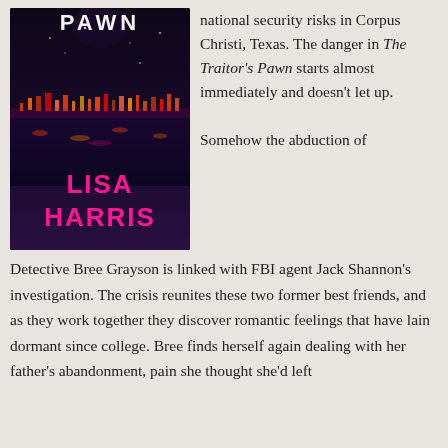[Figure (photo): Book cover of 'The Traitor's Pawn' by Lisa Harris. Dark night cityscape with colorful lights reflected on water, purple/dark background, title in white text at top, author name 'LISA HARRIS' in large magenta/pink letters at bottom.]
national security risks in Corpus Christi, Texas. The danger in The Traitor's Pawn starts almost immediately and doesn't let up.

Somehow the abduction of Detective Bree Grayson is linked with FBI agent Jack Shannon's investigation. The crisis reunites these two former best friends, and as they work together they discover romantic feelings that have lain dormant since college. Bree finds herself again dealing with her father's abandonment, pain she thought she'd left